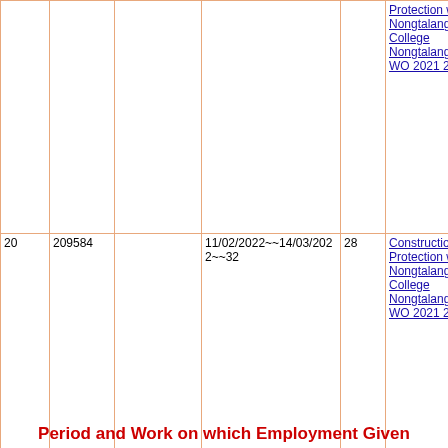| # | ID |  | Dates~~Days | Days | Description |
| --- | --- | --- | --- | --- | --- |
|  |  |  |  |  | Protection wall at Nongtalang College Nongtalang VEC WO 2021 2022 |
| 20 | 209584 |  | 11/02/2022~~14/03/2022~~32 | 28 | Construction of Protection wall at Nongtalang College Nongtalang VEC WO 2021 2022 |
| 21 | 263473 |  | 18/03/2022~~25/03/2022~~8 | 7 | Construction of Protection wall at Nongtalang College Nongtalang VEC WO 2021 2022 |
Period and Work on which Employment Given